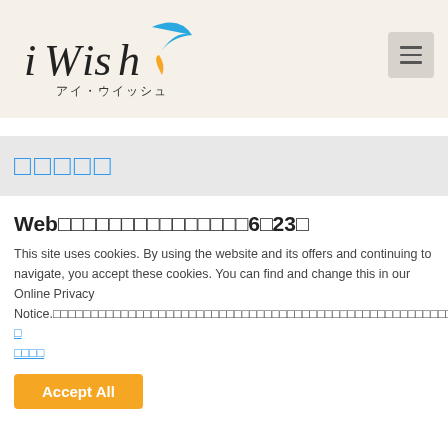[Figure (logo): iWish logo with blue feather/pen icon and Japanese text アイ・ウイッシュ]
□□□□□
Web□□□□□□□□□□□□□□□6□23□
This site uses cookies. By using the website and its offers and continuing to navigate, you accept these cookies. You can find and change this in our Online Privacy Notice.□□□□□□□□□□□□□□□□□□□□□□□□□□□□□□□□□□□□□□□□□□□□□□□□□□□□□□□□□□□□□□□□□□□□□□□□□□□□□□□□ □□□□
Accept All